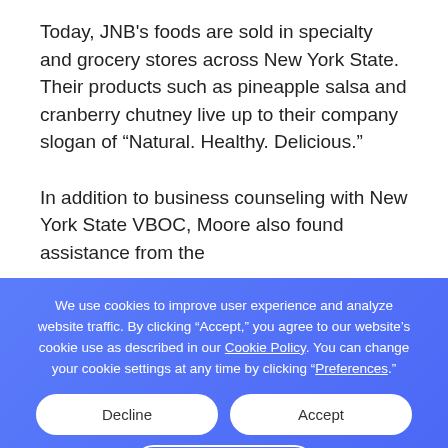Today, JNB's foods are sold in specialty and grocery stores across New York State. Their products such as pineapple salsa and cranberry chutney live up to their company slogan of “Natural. Healthy. Delicious.”
In addition to business counseling with New York State VBOC, Moore also found assistance from the Albany SBDC for trade missions to China with SBA's...
Cookie consent overlay: We use cookies to improve user experience and analyze website traffic. By clicking “Accept,” you agree to our website’s cookie use as described in our Cookie Policy. You can change your cookie settings at any time by clicking “Preferences.”